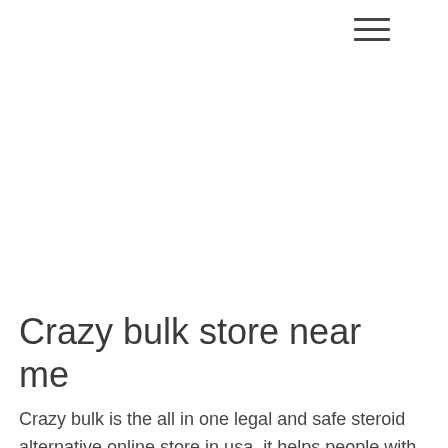[Figure (other): Hamburger menu icon with three horizontal lines in the upper right area]
Crazy bulk store near me
Crazy bulk is the all in one legal and safe steroid alternative online store in usa, it helps people with a few very important things. You can shop online at its website, and there is a lot of other stuff you can find there for your purchase.